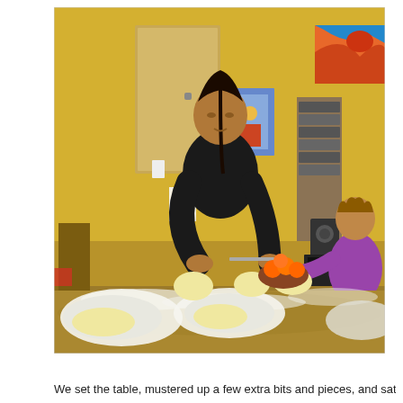[Figure (photo): A person in a black shirt working with dough on a table covered in flour, with plates and dough balls arranged in front of them. A child in a purple shirt sits to the right reaching toward a bowl of oranges. The room has yellow walls, artwork, and a bookshelf in the background.]
We set the table, mustered up a few extra bits and pieces, and sat down to a